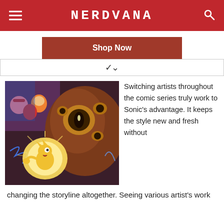NERDVANA
Shop Now
[Figure (illustration): Comic book art showing Super Sonic (golden glowing hedgehog) fighting a large monster with multiple eyes, accompanied by Amy Rose and other Sonic characters in the background]
Switching artists throughout the comic series truly work to Sonic's advantage. It keeps the style new and fresh without changing the storyline altogether. Seeing various artist's work